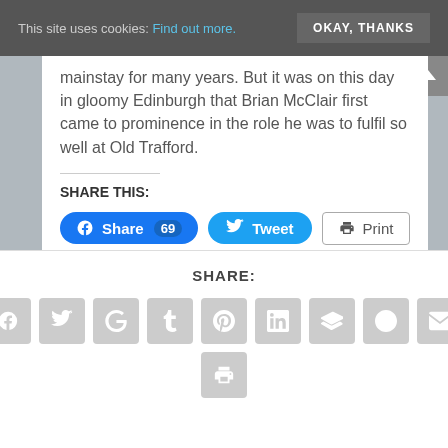This site uses cookies: Find out more. OKAY, THANKS
mainstay for many years. But it was on this day in gloomy Edinburgh that Brian McClair first came to prominence in the role he was to fulfil so well at Old Trafford.
SHARE THIS:
[Figure (screenshot): Social share buttons: Facebook Share 69, Twitter Tweet, Print]
SHARE:
[Figure (screenshot): Row of social media icon buttons: Facebook, Twitter, Google+, Tumblr, Pinterest, LinkedIn, Buffer, StumbleUpon, Email, Print]